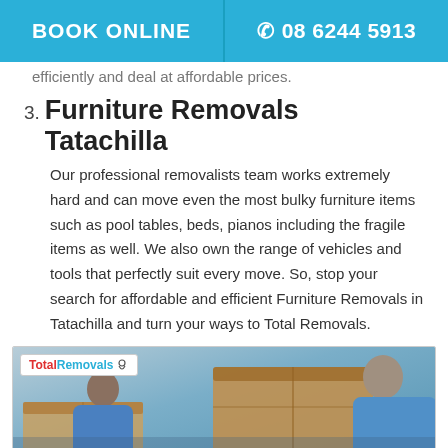BOOK ONLINE   08 6244 5913
efficiently and deal at affordable prices.
3. Furniture Removals Tatachilla
Our professional removalists team works extremely hard and can move even the most bulky furniture items such as pool tables, beds, pianos including the fragile items as well. We also own the range of vehicles and tools that perfectly suit every move. So, stop your search for affordable and efficient Furniture Removals in Tatachilla and turn your ways to Total Removals.
[Figure (photo): Photo of removalists in blue shirts carrying cardboard boxes, with Total Removals logo overlay in top-left corner.]